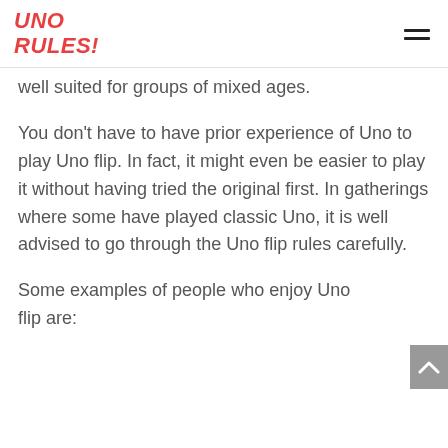UNO RULES!
well suited for groups of mixed ages.
You don't have to have prior experience of Uno to play Uno flip. In fact, it might even be easier to play it without having tried the original first. In gatherings where some have played classic Uno, it is well advised to go through the Uno flip rules carefully.
Some examples of people who enjoy Uno flip are: